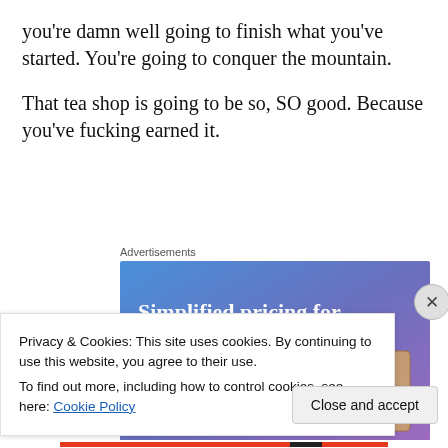you're damn well going to finish what you've started. You're going to conquer the mountain.
That tea shop is going to be so, SO good. Because you've fucking earned it.
Advertisements
[Figure (screenshot): Advertisement banner with blue-purple gradient background showing text 'Simplified pricing for everything you need.' with a pink 'Build Your Website' button and a price tag image on the right.]
Privacy & Cookies: This site uses cookies. By continuing to use this website, you agree to their use.
To find out more, including how to control cookies, see here: Cookie Policy